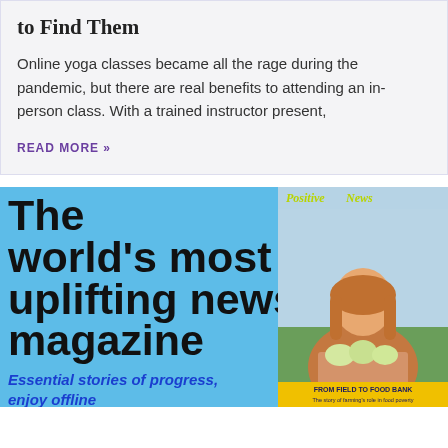to Find Them
Online yoga classes became all the rage during the pandemic, but there are real benefits to attending an in-person class. With a trained instructor present,
READ MORE »
[Figure (illustration): Advertisement banner for Positive News magazine. Light blue background with large bold black text reading 'The world's most uplifting news magazine'. Blue italic text reads 'Essential stories of progress, enjoy offline'. On the right side is a magazine cover showing a woman holding cauliflower, with the Positive News logo in yellow-green and a yellow banner at the bottom reading 'FROM FIELD TO FOOD BANK'.]